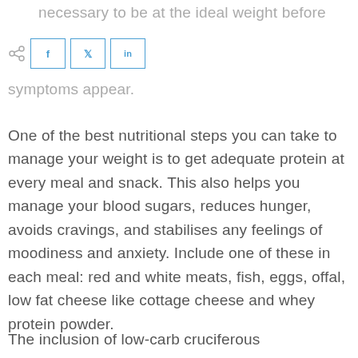necessary to be at the ideal weight before symptoms appear.
One of the best nutritional steps you can take to manage your weight is to get adequate protein at every meal and snack. This also helps you manage your blood sugars, reduces hunger, avoids cravings, and stabilises any feelings of moodiness and anxiety. Include one of these in each meal: red and white meats, fish, eggs, offal, low fat cheese like cottage cheese and whey protein powder.
The inclusion of low-carb cruciferous